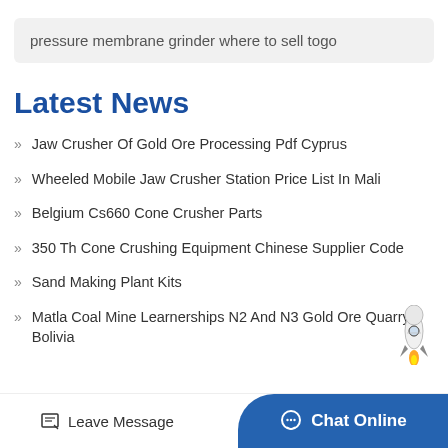pressure membrane grinder where to sell togo
Latest News
Jaw Crusher Of Gold Ore Processing Pdf Cyprus
Wheeled Mobile Jaw Crusher Station Price List In Mali
Belgium Cs660 Cone Crusher Parts
350 Th Cone Crushing Equipment Chinese Supplier Code
Sand Making Plant Kits
Matla Coal Mine Learnerships N2 And N3 Gold Ore Quarry Bolivia
[Figure (illustration): Rocket illustration icon]
Leave Message   Chat Online